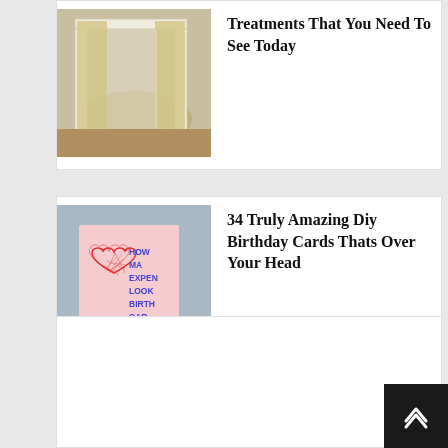[Figure (photo): Photo of a room interior with curtains/window treatments and a rug near a door]
Treatments That You Need To See Today
[Figure (photo): Photo of a hand holding a DIY birthday card with a red string-art heart and blue text reading HOW MA EXPEN LOOK BIRTH CAR]
34 Truly Amazing Diy Birthday Cards Thats Over Your Head